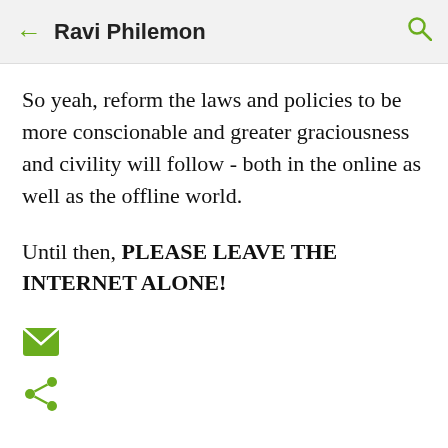Ravi Philemon
So yeah, reform the laws and policies to be more conscionable and greater graciousness and civility will follow - both in the online as well as the offline world.
Until then, PLEASE LEAVE THE INTERNET ALONE!
[Figure (other): Email icon (green envelope)]
[Figure (other): Share icon (green share symbol)]